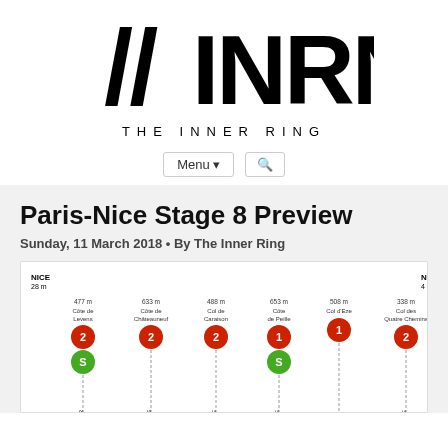[Figure (logo): INRNG - The Inner Ring logo with double slash marks]
[Figure (screenshot): Navigation bar with Menu dropdown and search icon buttons]
Paris-Nice Stage 8 Preview
Sunday, 11 March 2018 • By The Inner Ring
[Figure (infographic): Paris-Nice Stage 8 route profile showing climbs: NICE 28m start, Côte de Levens 477m (cat 2), Côte de Châteauneuf 633m (cat 2), Col de Caraison 488m (cat 2), Côte de Peille 653m (cat 1), Col d'Eze 508m (cat 1), Col des Quatre Chemins 338m (cat 2), finishing at NICE 4m. Sprint points at Saint-Martin-du-Var and La Turbie.]